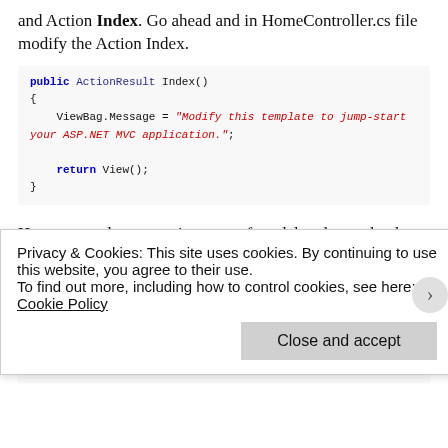and Action Index. Go ahead and in HomeController.cs file modify the Action Index.
[Figure (screenshot): Code snippet: public ActionResult Index() with ViewBag.Message set to a string and return View();]
Here we need to create instance of model and pass the data to view. That can be done as following
[Figure (screenshot): Code snippet: public ActionResult Index() with DataClasses1DataContext context = new DataClasses1DataContext(); and return View(context.Persons); (partially visible)]
Privacy & Cookies: This site uses cookies. By continuing to use this website, you agree to their use.
To find out more, including how to control cookies, see here: Cookie Policy
Close and accept